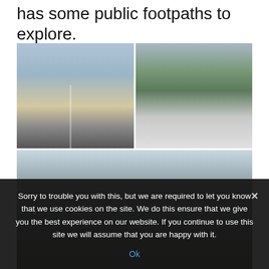has some public footpaths to explore.
[Figure (photo): Three photographs showing a harbour/marina area with boats, buildings, and waterside scenes. Top-left: a street view with white buildings and parked cars near a marina. Top-right: a narrow path between a dark building and moored sailboats on grass/hard standing. Bottom: a wide shot of marina buildings with scaffolding, a road, and red-berried shrubs in the foreground.]
Sorry to trouble you with this, but we are required to let you know that we use cookies on the site. We do this ensure that we give you the best experience on our website. If you continue to use this site we will assume that you are happy with it.
Ok